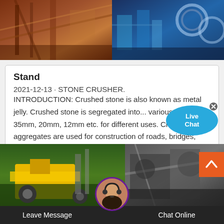[Figure (photo): Two industrial/engineering photos side by side: left shows rusty red metal bridge/mining structure, right shows industrial machinery with blue metal components and rollers]
Stand
2021-12-13 · STONE CRUSHER. INTRODUCTION: Crushed stone is also known as metal jelly. Crushed stone is segregated into... various sizes viz. 35mm, 20mm, 12mm etc. for different uses. Crushed stone aggregates are used for construction of roads, bridges, housing,
[Figure (photo): Two photos of stone crushing machinery: left shows yellow crushing equipment in outdoor/green setting, right shows large industrial crusher equipment. Live chat bubble overlay and avatar with Leave Message / Chat Online bar at bottom.]